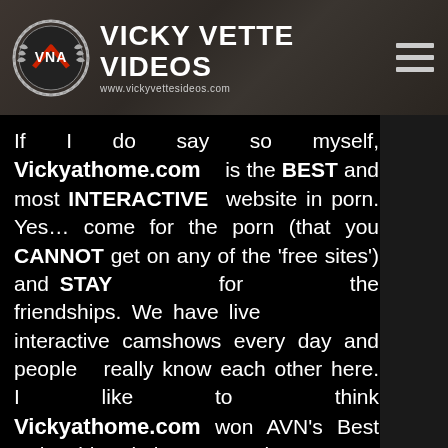VICKY VETTE VIDEOS www.vickyvettesideos.com
If I do say so myself, Vickyathome.com is the BEST and most INTERACTIVE website in porn. Yes… come for the porn (that you CANNOT get on any of the 'free sites') and STAY for the friendships. We have live interactive camshows every day and people really know each other here. I like to think Vickyathome.com won AVN's Best Solo Girl Website 2016 and